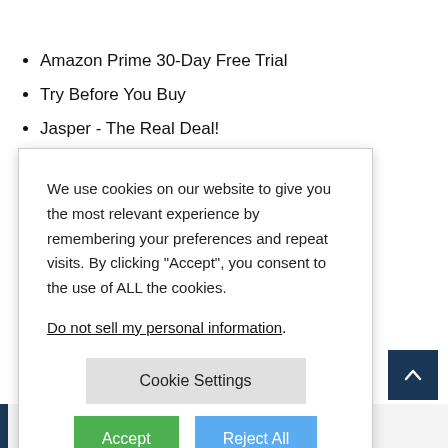Amazon Prime 30-Day Free Trial
Try Before You Buy
Jasper - The Real Deal!
We use cookies on our website to give you the most relevant experience by remembering your preferences and repeat visits. By clicking “Accept”, you consent to the use of ALL the cookies.
Do not sell my personal information.
Cookie Settings
Accept
Reject All
EDITOR'S PICKS